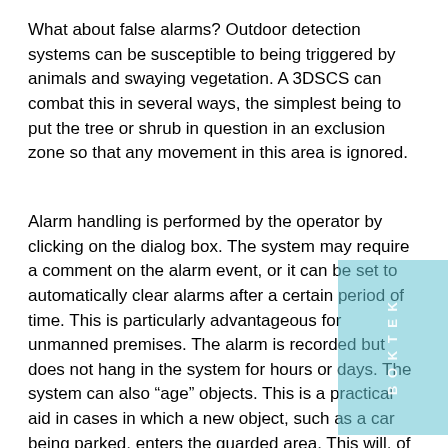What about false alarms? Outdoor detection systems can be susceptible to being triggered by animals and swaying vegetation. A 3DSCS can combat this in several ways, the simplest being to put the tree or shrub in question in an exclusion zone so that any movement in this area is ignored.
Alarm handling is performed by the operator by clicking on the dialog box. The system may require a comment on the alarm event, or it can be set to automatically clear alarms after a certain period of time. This is particularly advantageous for unmanned premises. The alarm is recorded but does not hang in the system for hours or days. The system can also “age” objects. This is a practical aid in cases in which a new object, such as a car being parked, enters the guarded area. This will, of course, trigger an alarm. But the system can recognize that the object has stopped moving and, after a user-defined time, it can place it in the scene and not react to it anymore – that is, until it